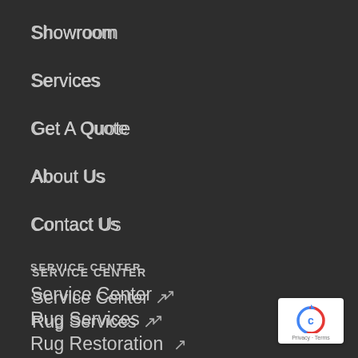Showroom
Services
Get A Quote
About Us
Contact Us
SERVICE CENTER
Service Center ↗
Rug Services ↗
Rug Restoration ↗
Carpet Cleaning ↗
Stain Protection ↗
[Figure (logo): Google reCAPTCHA badge with Privacy and Terms text]